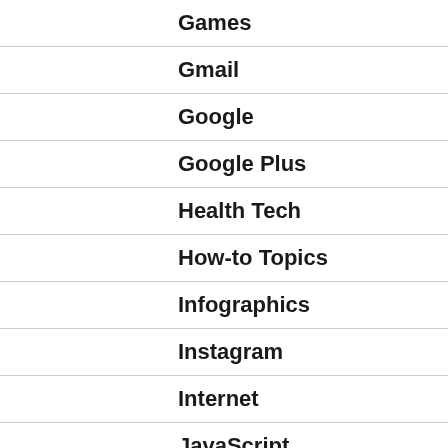Games
Gmail
Google
Google Plus
Health Tech
How-to Topics
Infographics
Instagram
Internet
JavaScript
Jobs
LinkedIn
Marketing